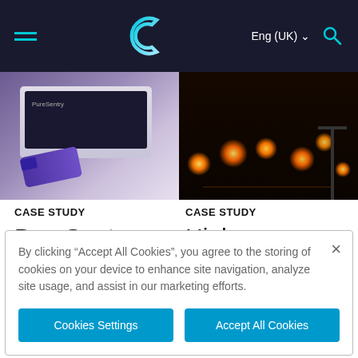[Figure (screenshot): Website navigation bar with hamburger menu, C-shaped logo, Eng (UK) language selector, and search icon on dark background]
[Figure (photo): Left: USB device and laptop on desk with purple tones. Right: Airport runway lights at night with orange glowing lights]
CASE STUDY
PureSentry
CASE STUDY
High
By clicking “Accept All Cookies”, you agree to the storing of cookies on your device to enhance site navigation, analyze site usage, and assist in our marketing efforts.
Cookies Settings
Accept All Cookies